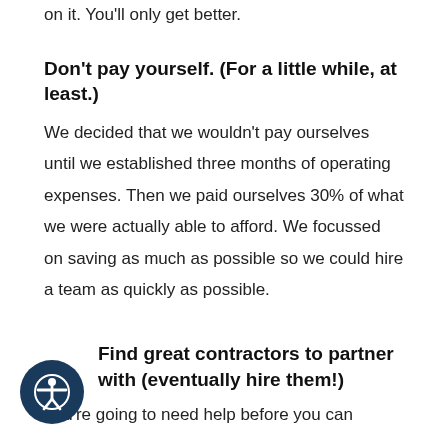on it. You'll only get better.
Don't pay yourself. (For a little while, at least.)
We decided that we wouldn't pay ourselves until we established three months of operating expenses. Then we paid ourselves 30% of what we were actually able to afford. We focussed on saving as much as possible so we could hire a team as quickly as possible.
Find great contractors to partner with (eventually hire them!)
You're going to need help before you can